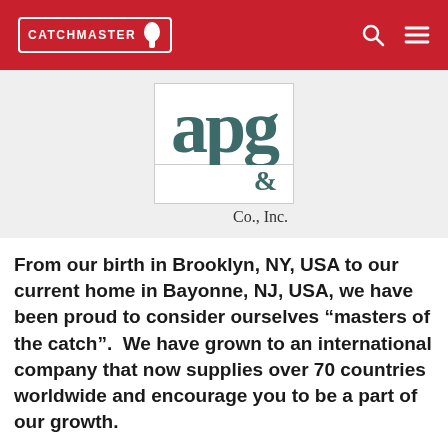CATCHMASTER
[Figure (logo): APG & Co., Inc. company logo with large teal letters 'a', 'p', 'g' and '&' symbol, followed by 'Co., Inc.' text below]
From our birth in Brooklyn, NY, USA to our current home in Bayonne, NJ, USA, we have been proud to consider ourselves “masters of the catch”.  We have grown to an international company that now supplies over 70 countries worldwide and encourage you to be a part of our growth.